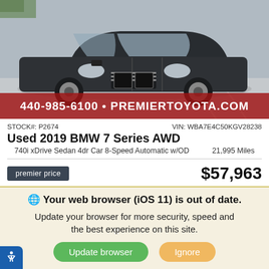[Figure (photo): Dark gray BMW 7 Series AWD sedan parked in a dealership lot, front three-quarter view. Red dealer banner overlay at bottom reading '440-985-6100 • PREMIERTOYOTA.COM']
STOCK#: P2674    VIN: WBA7E4C50KGV28238
Used 2019 BMW 7 Series AWD
740i xDrive Sedan 4dr Car 8-Speed Automatic w/OD    21,995 Miles
premier price    $57,963
Key Features
[Figure (infographic): Row of feature icons: adjustable/heated seats, ABS, Bluetooth, WiFi/connectivity, other feature icon]
Your web browser (iOS 11) is out of date. Update your browser for more security, speed and the best experience on this site.
Update browser    Ignore